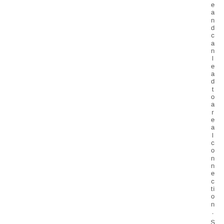e a n d c a n l e a d t o a r e a l c o n n e c t i o n . S